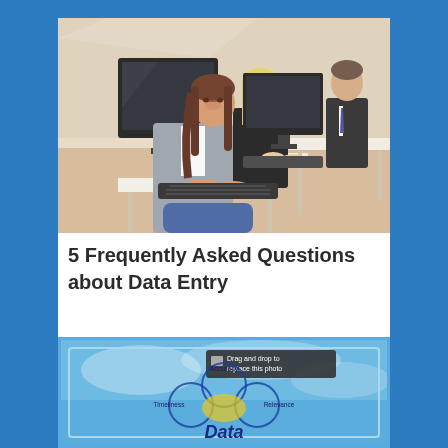[Figure (photo): Office training scene with three business professionals working at computers in a classroom/office setting. A woman with brown hair in a grey jacket is in the foreground at a computer, a blonde woman in black is behind her, and a man in a suit and tie is at the back.]
5 Frequently Asked Questions about Data Entry
[Figure (infographic): A blue-background diagram showing overlapping circles labeled with terms like 'Accuracy', 'Consistency', 'Relevance', 'Timeliness' arranged around a central word 'Data'. There is a 'Drag and drop to replace this photo' placeholder label visible.]